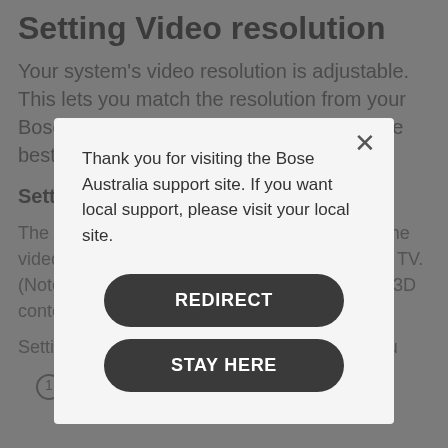Setting Video resolution
Your system's video resolution is adjustable. This lets you match the resolution from your Bose system with your TV resolution for the best image quality.
Setting Video Resolution:
The Video Resolution setting lets you match the video from the console to the resolution of your TV. (Note: This setting is unavailable when playing 3D content.)
Setting Video Resolution from the system menu
On the remote control, press the More
[Figure (screenshot): Modal dialog overlay on top of the Setting Video Resolution page. The modal has a close (X) button in the top right, text reading 'Thank you for visiting the Bose Australia support site. If you want local support, please visit your local site.' and two buttons: 'REDIRECT' and 'STAY HERE'.]